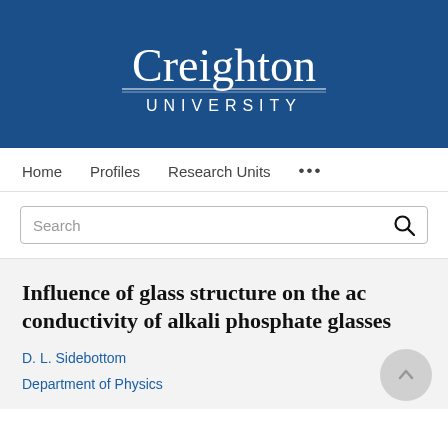[Figure (logo): Creighton University logo — white text on dark blue background, serif wordmark 'Creighton' above 'UNIVERSITY' in spaced caps]
Home   Profiles   Research Units   ...
Search
Influence of glass structure on the ac conductivity of alkali phosphate glasses
D. L. Sidebottom
Department of Physics